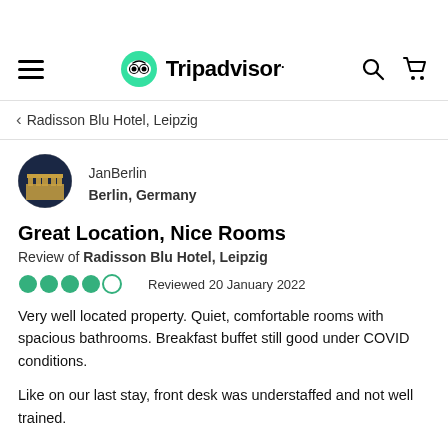[Figure (logo): Tripadvisor logo with green owl icon and navigation bar including hamburger menu, search icon, and cart icon]
< Radisson Blu Hotel, Leipzig
[Figure (photo): Circular avatar photo of Brandenburg Gate at night used as reviewer profile picture]
JanBerlin
Berlin, Germany
Great Location, Nice Rooms
Review of Radisson Blu Hotel, Leipzig
●●●●○  Reviewed 20 January 2022
Very well located property. Quiet, comfortable rooms with spacious bathrooms. Breakfast buffet still good under COVID conditions.
Like on our last stay, front desk was understaffed and not well trained.